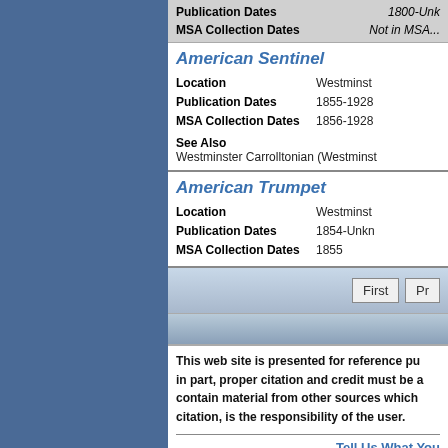| Field | Value |
| --- | --- |
| Publication Dates | 1800-Unk... |
| MSA Collection Dates | Not in MSA... |
American Sentinel
| Field | Value |
| --- | --- |
| Location | Westminst... |
| Publication Dates | 1855-1928 |
| MSA Collection Dates | 1856-1928 |
See Also
Westminster Carrolltonian (Westminst...
American Trumpet
| Field | Value |
| --- | --- |
| Location | Westminst... |
| Publication Dates | 1854-Unkn... |
| MSA Collection Dates | 1855 |
This web site is presented for reference pu... in part, proper citation and credit must be a... contain material from other sources which ... citation, is the responsibility of the user.
Tell Us What You...
[ Archives' Home Pa...
Search the Archive...